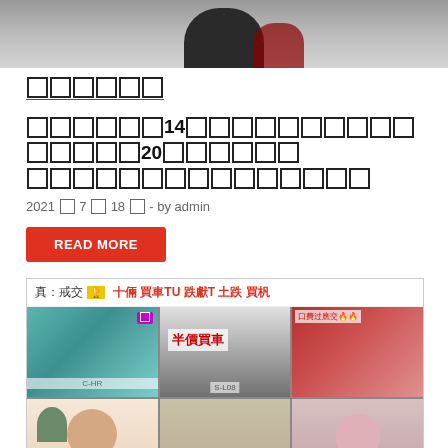[Figure (photo): Cropped top portion of a person's photo, showing lower body/hands area against a dark outfit background]
（category link in Chinese）
（Chinese title with tofu characters）14（tofu）20（tofu）
2021 年 7 月 18 日  -  by admin
READ MORE
[Figure (photo): Article thumbnail showing a grid of car dealership photos with Chinese text overlay '半價買車' (half price car), featuring Toyota C-HR, Mercedes-Benz vehicles, and people posing with cars]